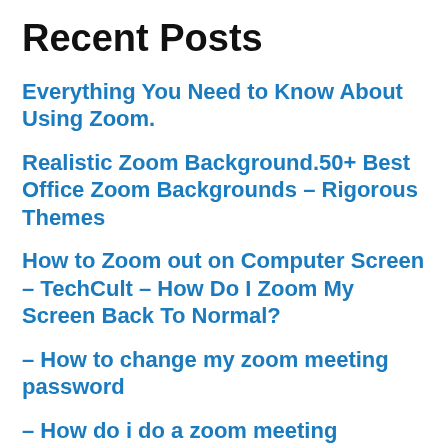Recent Posts
Everything You Need to Know About Using Zoom.
Realistic Zoom Background.50+ Best Office Zoom Backgrounds – Rigorous Themes
How to Zoom out on Computer Screen – TechCult – How Do I Zoom My Screen Back To Normal?
– How to change my zoom meeting password
– How do i do a zoom meeting